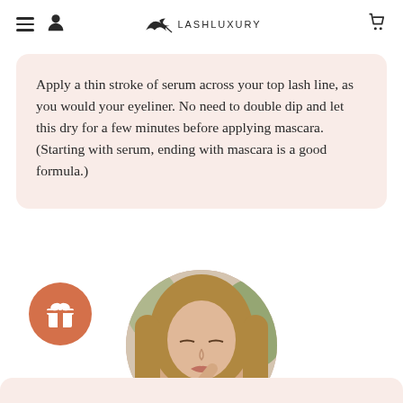LASHLUXURY — navigation header with menu, user, logo, and cart icons
Apply a thin stroke of serum across your top lash line, as you would your eyeliner. No need to double dip and let this dry for a few minutes before applying mascara. (Starting with serum, ending with mascara is a good formula.)
[Figure (photo): Circular cropped photo of a woman with long blonde hair applying serum/mascara wand to her lash line, eyes closed, outdoors with greenery in background]
[Figure (illustration): Orange circular button with white gift/present icon (bow on box)]